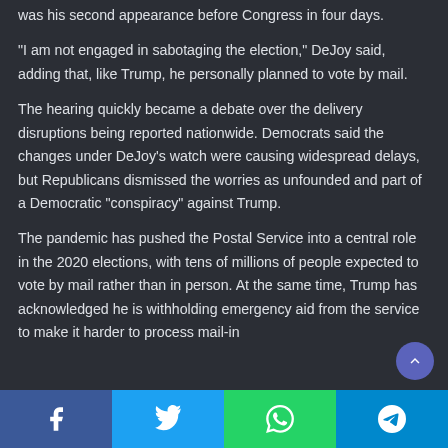was his second appearance before Congress in four days.
“I am not engaged in sabotaging the election,” DeJoy said, adding that, like Trump, he personally planned to vote by mail.
The hearing quickly became a debate over the delivery disruptions being reported nationwide. Democrats said the changes under DeJoy’s watch were causing widespread delays, but Republicans dismissed the worries as unfounded and part of a Democratic “conspiracy” against Trump.
The pandemic has pushed the Postal Service into a central role in the 2020 elections, with tens of millions of people expected to vote by mail rather than in person. At the same time, Trump has acknowledged he is withholding emergency aid from the service to make it harder to process mail-in